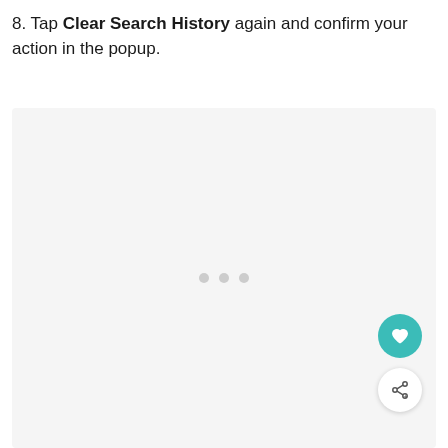8. Tap Clear Search History again and confirm your action in the popup.
[Figure (screenshot): A light gray placeholder screenshot area representing a mobile screen, with three small gray dots in the center (loading indicator) and two circular action buttons in the bottom-right corner: a teal heart button and a white share button.]